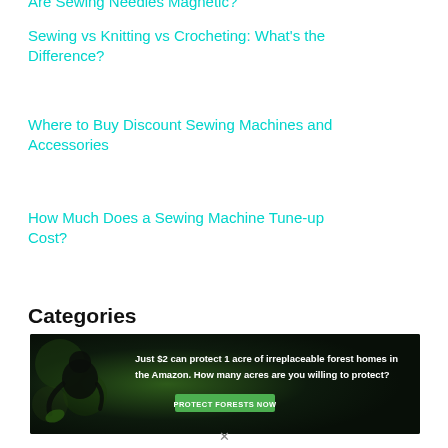Are Sewing Needles Magnetic?
Sewing vs Knitting vs Crocheting: What's the Difference?
Where to Buy Discount Sewing Machines and Accessories
How Much Does a Sewing Machine Tune-up Cost?
Categories
[Figure (other): Advertisement banner: 'Just $2 can protect 1 acre of irreplaceable forest homes in the Amazon. How many acres are you willing to protect?' with a PROTECT FORESTS NOW button, dark forest background with animal silhouette]